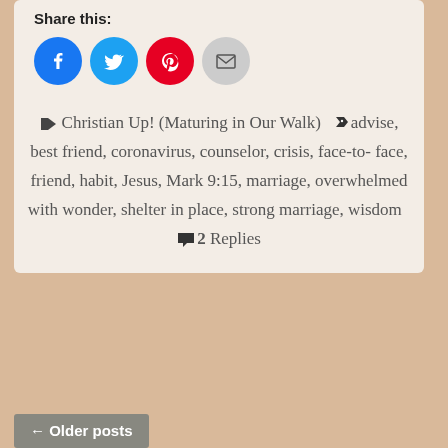Share this:
[Figure (infographic): Four social share buttons in a row: Facebook (blue circle), Twitter (light blue circle), Pinterest (red circle), Email (grey circle)]
📁 Christian Up! (Maturing in Our Walk)  🏷 advise, best friend, coronavirus, counselor, crisis, face-to-face, friend, habit, Jesus, Mark 9:15, marriage, overwhelmed with wonder, shelter in place, strong marriage, wisdom  💬 2 Replies
← Older posts